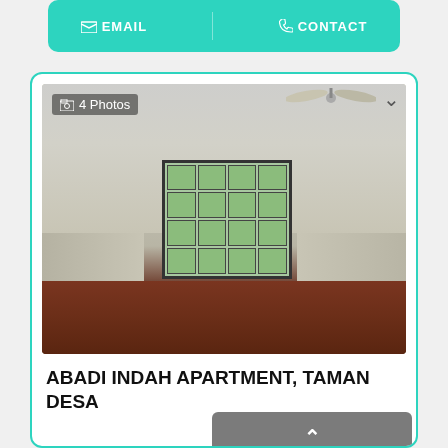[Figure (other): Top teal bar with EMAIL and CONTACT buttons, partially visible at top of page]
[Figure (photo): Interior room photo of an empty apartment room with barred window, ceiling fan, and dark wood floor. Badge shows 4 Photos.]
ABADI INDAH APARTMENT, TAMAN DESA
For Sale: RM280,000
[Figure (other): Scroll To Top button overlay with upward chevron icon]